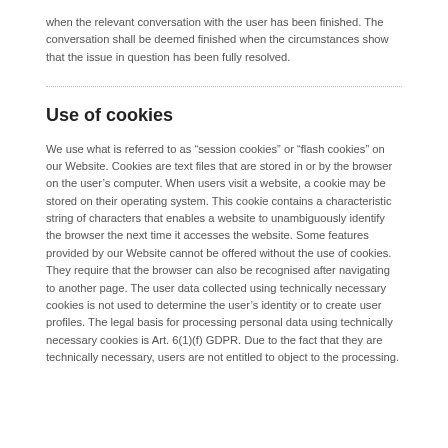when the relevant conversation with the user has been finished. The conversation shall be deemed finished when the circumstances show that the issue in question has been fully resolved.
Use of cookies
We use what is referred to as “session cookies” or “flash cookies” on our Website. Cookies are text files that are stored in or by the browser on the user’s computer. When users visit a website, a cookie may be stored on their operating system. This cookie contains a characteristic string of characters that enables a website to unambiguously identify the browser the next time it accesses the website. Some features provided by our Website cannot be offered without the use of cookies. They require that the browser can also be recognised after navigating to another page. The user data collected using technically necessary cookies is not used to determine the user’s identity or to create user profiles. The legal basis for processing personal data using technically necessary cookies is Art. 6(1)(f) GDPR. Due to the fact that they are technically necessary, users are not entitled to object to the processing.